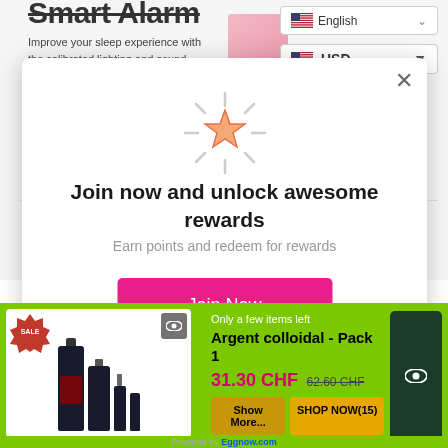[Figure (screenshot): Background of a website showing 'Smart Alarm' heading with subtitle text about sleep experience, a language selector showing English with US flag, and a USD currency selector]
[Figure (screenshot): Modal popup with a shining star icon, title 'Join now and unlock awesome rewards', subtitle 'Earn points and redeem for rewards', a pink 'Join Now' button, and an X close button]
[Figure (screenshot): Green promotional banner showing a sale product 'Argent colloidal - Pack 1' priced at 31.30 CHF (was 62.60 CHF), with product image, Show More and SHOP NOW(15) buttons, and eye icon. Powered by Eggnow.com text at bottom.]